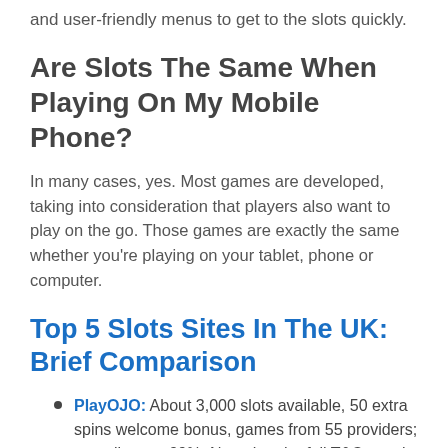and user-friendly menus to get to the slots quickly.
Are Slots The Same When Playing On My Mobile Phone?
In many cases, yes. Most games are developed, taking into consideration that players also want to play on the go. Those games are exactly the same whether you're playing on your tablet, phone or computer.
Top 5 Slots Sites In The UK: Brief Comparison
PlayOJO: About 3,000 slots available, 50 extra spins welcome bonus, games from 55 providers; overall score 99%. Note that the full T&Cs apply.
Magic Red: About 1,200 slots available, 100% first deposit bonus up to £25, games from 52 providers;